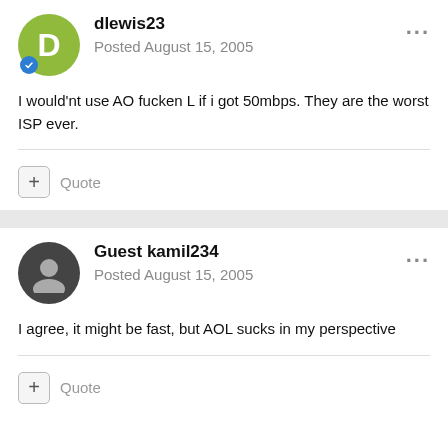dlewis23
Posted August 15, 2005
I would'nt use AO fucken L if i got 50mbps. They are the worst ISP ever.
Quote
Guest kamil234
Posted August 15, 2005
I agree, it might be fast, but AOL sucks in my perspective
Quote